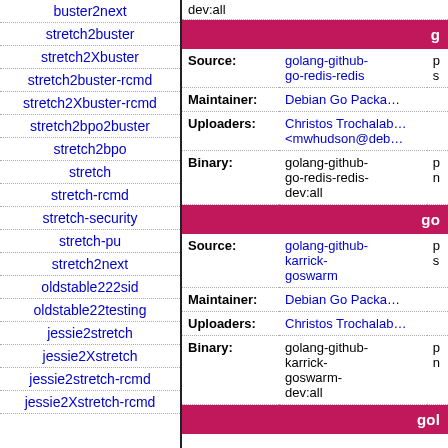buster2next
stretch2buster
stretch2Xbuster
stretch2buster-rcmd
stretch2Xbuster-rcmd
stretch2bpo2buster
stretch2bpo
stretch
stretch-rcmd
stretch-security
stretch-pu
stretch2next
oldstable222sid
oldstable22testing
jessie2stretch
jessie2Xstretch
jessie2stretch-rcmd
jessie2Xstretch-rcmd
g
| Field | Value | Extra |
| --- | --- | --- |
| Source: | golang-github-go-redis-redis | p s |
| Maintainer: | Debian Go Packa… |  |
| Uploaders: | Christos Trochalab… <mwhudson@deb… |  |
| Binary: | golang-github-go-redis-redis-dev:all | p n |
go
| Field | Value | Extra |
| --- | --- | --- |
| Source: | golang-github-karrick-goswarm | p s |
| Maintainer: | Debian Go Packa… |  |
| Uploaders: | Christos Trochalab… |  |
| Binary: | golang-github-karrick-goswarm-dev:all | p n |
gol